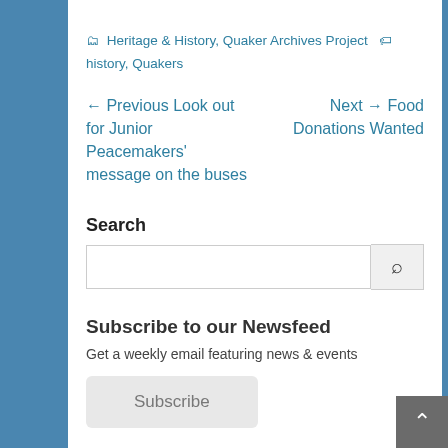Heritage & History, Quaker Archives Project  history, Quakers
← Previous Look out for Junior Peacemakers' message on the buses   Next → Food Donations Wanted
Search
Subscribe to our Newsfeed
Get a weekly email featuring news & events
Subscribe